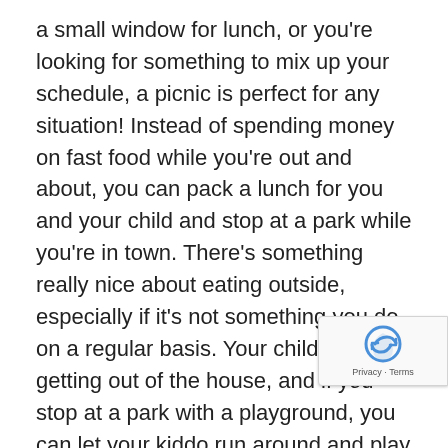a small window for lunch, or you're looking for something to mix up your schedule, a picnic is perfect for any situation! Instead of spending money on fast food while you're out and about, you can pack a lunch for you and your child and stop at a park while you're in town. There's something really nice about eating outside, especially if it's not something you do on a regular basis. Your child will love getting out of the house, and if you stop at a park with a playground, you can let your kiddo run around and play while you take a few minutes to catch up on emails or other necessary tasks.
There are just a couple ideas for how you and your child can get outside. If you're looking for a way to ensure that your child is challenged and gets the chance to exp new things on a daily basis, Today's Life Schools & Chi...